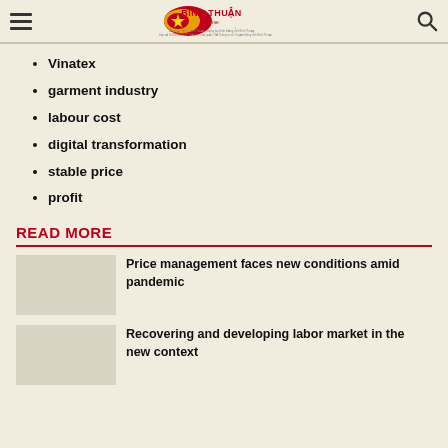Binh Thuan Online
Vinatex
garment industry
labour cost
digital transformation
stable price
profit
READ MORE
Price management faces new conditions amid pandemic
Recovering and developing labor market in the new context